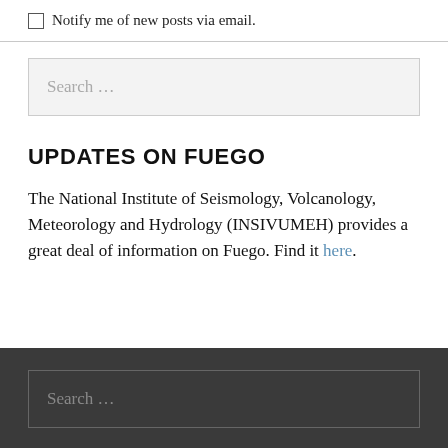Notify me of new posts via email.
Search ...
UPDATES ON FUEGO
The National Institute of Seismology, Volcanology, Meteorology and Hydrology (INSIVUMEH) provides a great deal of information on Fuego. Find it here.
Search ...